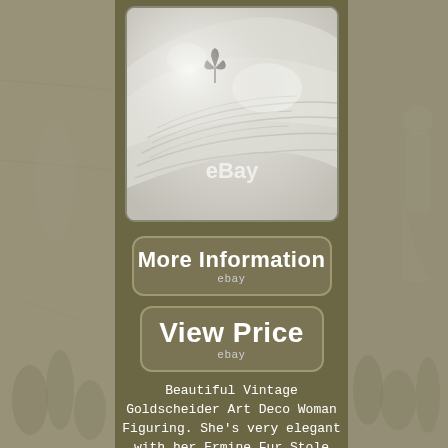[Figure (photo): Close-up photo of a white porcelain figurine hand/surface with fine etched lines and a small dark floral detail, with eBay watermark overlay.]
[Figure (illustration): Button labeled 'More Information' with 'ebay' subtext, in rounded rectangle frame on olive/tan background.]
[Figure (illustration): Button labeled 'View Price' with 'ebay' subtext, in rounded rectangle frame on olive/tan background.]
Beautiful Vintage Goldscheider Art Deco Woman Figuring. She's very elegant with her Ermine Fur Stole and Lacy Gown.